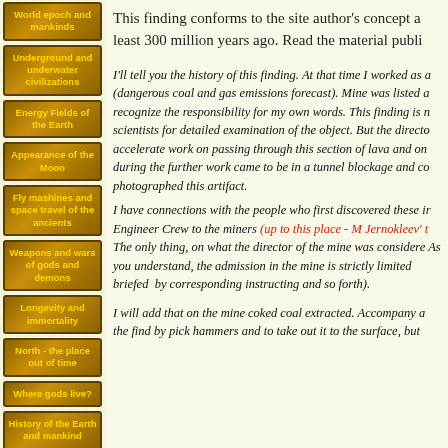World epoch and mankinds
Underground and underwater civilizations
Energy Fields of the Earth
Appearance of the Moon
Fly mashines and space travel of the ancients
Weapons and wars of gods and demons
Longevity and immortality
North - the place out of time
Where gods live?
History of the Earth and mankind
This finding conforms to the site author's concept a least 300 million years ago. Read the material publi
I'll tell you the history of this finding. At that time I worked as a (dangerous coal and gas emissions forecast). Mine was listed a recognize the responsibility for my own words. This finding is n scientists for detailed examination of the object. But the directo accelerate work on passing through this section of lava and on during the further work came to be in a tunnel blockage and co photographed this artifact.
I have connections with the people who first discovered these ir Engineer Crew to the miners (up to this place - M Jernokleev' t The only thing, on what the director of the mine was considere As you understand, the admission in the mine is strictly limited briefed by corresponding instructing and so forth).
I will add that on the mine coked coal extracted. Accompany a the find by pick hammers and to take out it to the surface, but